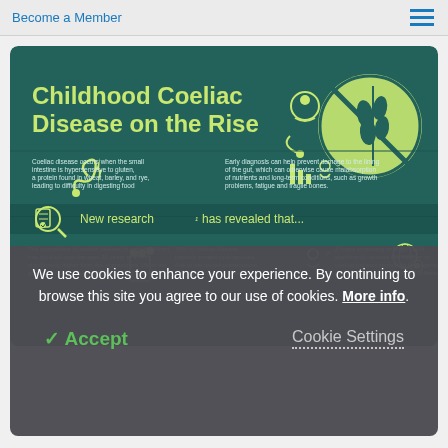Become a Member
[Figure (infographic): Infographic titled 'Childhood Coeliac Disease on the Rise' on a dark teal background. Contains icons of digestive system, wheat, and figures. Text explains coeliac disease: it occurs when small intestine is hypersensitive to gluten found in wheat, barley, rye. Early diagnosis prevents gut damage and long-term conditions like growth problems, fatigue, fragile bones. Section: 'New research has revealed that...' - prevalence of coeliac disease in schoolchildren has doubled over past 25 years to 1.6%, significantly higher than approximate 1% of global population. 79% of coeliac disease patients remain undiagnosed due to varied presentation of clinical signs and symptoms. A mass screening strategy could significantly reduce number of coeliac patients remaining undiagnosed, helping to avoid unnecessary suffering.]
We use cookies to enhance your experience. By continuing to browse this site you agree to our use of cookies. More info.
✓ Accept
Cookie Settings